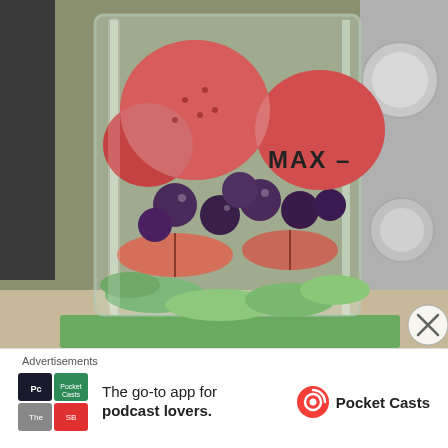[Figure (photo): A blender filled with mixed frozen fruit including strawberries, blueberries, apple slices, and cucumber/kiwi pieces. The blender shows a MAX fill line marker. Kitchen appliances visible in the background.]
Advertisements
[Figure (other): Pocket Casts app advertisement: 'The go-to app for podcast lovers.' with Pocket Casts logo and colorful app icon grid.]